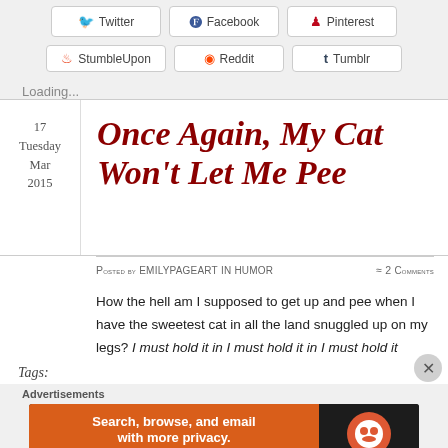[Figure (screenshot): Social share buttons row: Twitter, Facebook, Pinterest]
[Figure (screenshot): Social share buttons row: StumbleUpon, Reddit, Tumblr]
Loading...
Once Again, My Cat Won't Let Me Pee
17 Tuesday Mar 2015
Posted by emilypageart in humor ≈ 2 Comments
How the hell am I supposed to get up and pee when I have the sweetest cat in all the land snuggled up on my legs? I must hold it in I must hold it in I must hold it
Tags:
Advertisements
[Figure (screenshot): DuckDuckGo advertisement banner: Search, browse, and email with more privacy. All in One Free App.]